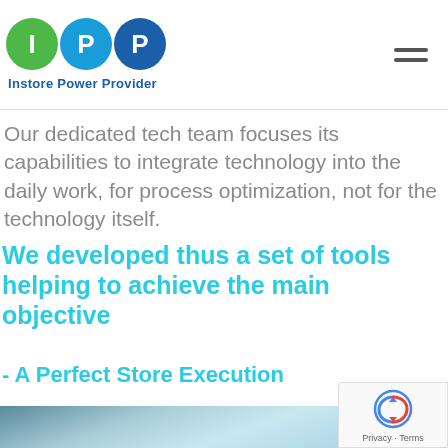[Figure (logo): IPP logo with three colored circles (green I, light blue P, dark blue P) and tagline 'Instore Power Provider']
Our dedicated tech team focuses its capabilities to integrate technology into the daily work, for process optimization, not for the technology itself.
We developed thus a set of tools helping to achieve the main objective
- A Perfect Store Execution
[Figure (photo): Blurred background image with blue/teal gradient tones]
[Figure (other): Google reCAPTCHA badge showing recycling-arrow icon and 'Privacy · Terms' text]